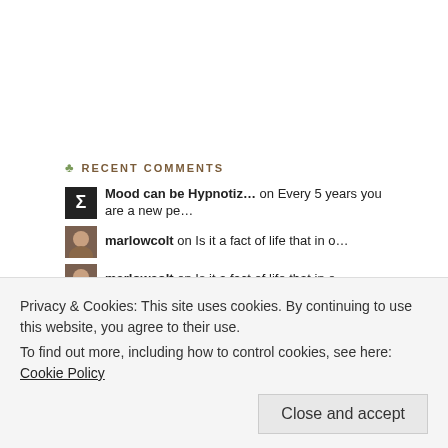♣ RECENT COMMENTS
Mood can be Hypnotiz… on Every 5 years you are a new pe…
marlowcolt on Is it a fact of life that in o…
marlowcolt on Is it a fact of life that in o…
JM on Two girls squealed in uncontro…
xsplat on Because even a virgin who is p…
Bryce van Bateman Pa… on Because even a virgin who is p…
Nick on Working on the koan for modern…
Andy (Kill Your Inne… on Why Rollo's therationalmän…
xsplat on Working on the koan for modern…
Nick on Working on the koan for modern…
Anon1 on Working on the koan for modern…
xsplat on If you want girls to come back…
Privacy & Cookies: This site uses cookies. By continuing to use this website, you agree to their use.
To find out more, including how to control cookies, see here: Cookie Policy
Close and accept